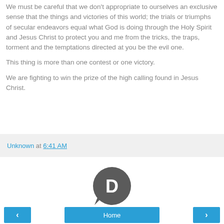We must be careful that we don't appropriate to ourselves an exclusive sense that the things and victories of this world; the trials or triumphs of secular endeavors equal what God is doing through the Holy Spirit and Jesus Christ to protect you and me from the tricks, the traps, torment and the temptations directed at you be the evil one.
This thing is more than one contest or one victory.
We are fighting to win the prize of the high calling found in Jesus Christ.
Unknown at 6:41 AM
[Figure (logo): Disqus logo: dark grey circular speech bubble with a white letter D inside]
‹  Home  ›